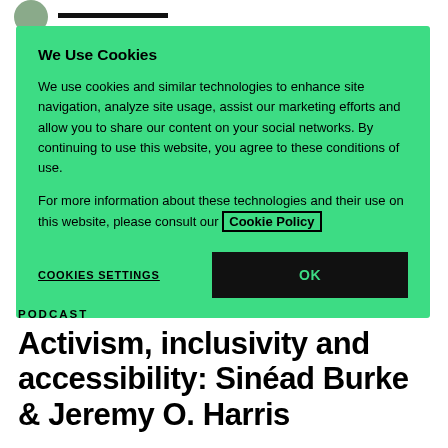[Navigation bar with logo and menu]
We Use Cookies
We use cookies and similar technologies to enhance site navigation, analyze site usage, assist our marketing efforts and allow you to share our content on your social networks. By continuing to use this website, you agree to these conditions of use.
For more information about these technologies and their use on this website, please consult our Cookie Policy
COOKIES SETTINGS
OK
PODCAST
Activism, inclusivity and accessibility: Sinéad Burke & Jeremy O. Harris